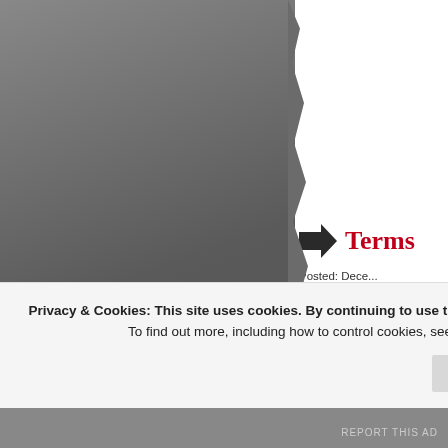[Figure (photo): Large dark gray photograph occupying the left portion of the page, with a torn/ragged right edge effect]
Terms
Posted: Dece...
Tags: agnosti... faith, ghosts, mohammed, spiritualism,
Atheism, theism, deis... abused in discussion... into these traps. For ... for the atheist it may...
Privacy & Cookies: This site uses cookies. By continuing to use this website, you agree to their use.
To find out more, including how to control cookies, see here: Cookie Policy
Close and accept